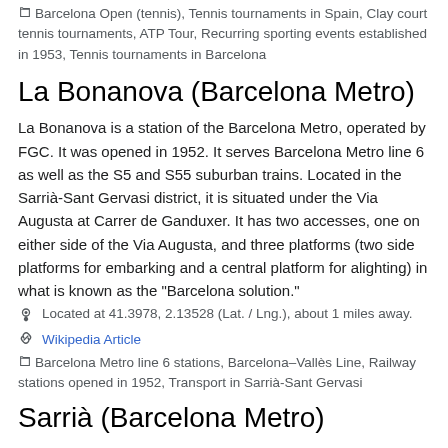Barcelona Open (tennis), Tennis tournaments in Spain, Clay court tennis tournaments, ATP Tour, Recurring sporting events established in 1953, Tennis tournaments in Barcelona
La Bonanova (Barcelona Metro)
La Bonanova is a station of the Barcelona Metro, operated by FGC. It was opened in 1952. It serves Barcelona Metro line 6 as well as the S5 and S55 suburban trains. Located in the Sarrià-Sant Gervasi district, it is situated under the Via Augusta at Carrer de Ganduxer. It has two accesses, one on either side of the Via Augusta, and three platforms (two side platforms for embarking and a central platform for alighting) in what is known as the "Barcelona solution."
Located at 41.3978, 2.13528 (Lat. / Lng.), about 1 miles away.
Wikipedia Article
Barcelona Metro line 6 stations, Barcelona–Vallès Line, Railway stations opened in 1952, Transport in Sarrià-Sant Gervasi
Sarrià (Barcelona Metro)